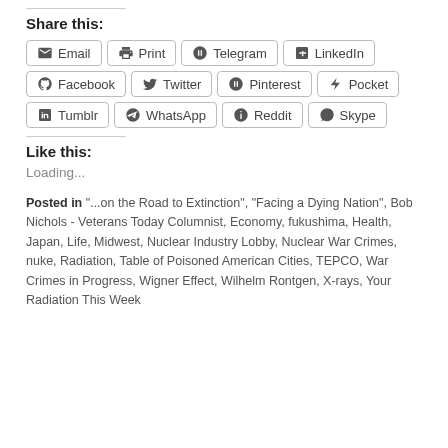Share this:
[Figure (other): Row of share buttons: Email, Print, Telegram, LinkedIn]
[Figure (other): Row of share buttons: Facebook, Twitter, Pinterest, Pocket]
[Figure (other): Row of share buttons: Tumblr, WhatsApp, Reddit, Skype]
Like this:
Loading...
Posted in "...on the Road to Extinction", "Facing a Dying Nation", Bob Nichols - Veterans Today Columnist, Economy, fukushima, Health, Japan, Life, Midwest, Nuclear Industry Lobby, Nuclear War Crimes, nuke, Radiation, Table of Poisoned American Cities, TEPCO, War Crimes in Progress, Wigner Effect, Wilhelm Rontgen, X-rays, Your Radiation This Week